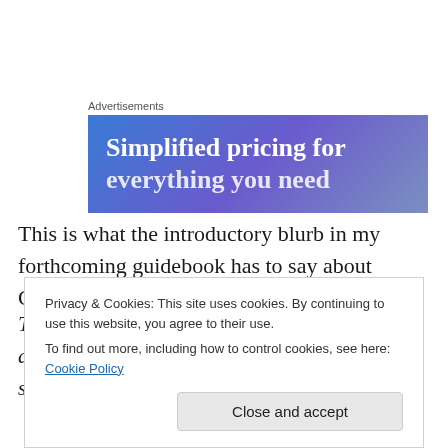Advertisements
[Figure (illustration): Advertisement banner with blue-purple gradient background showing text 'Simplified pricing for everything you need']
This is what the introductory blurb in my forthcoming guidebook has to say about Colonsay and Oronsay:
The word remote is often applied to Colonsay and Oronsay; they lie 15km west of Jura, some 40km west of
Privacy & Cookies: This site uses cookies. By continuing to use this website, you agree to their use.
To find out more, including how to control cookies, see here: Cookie Policy